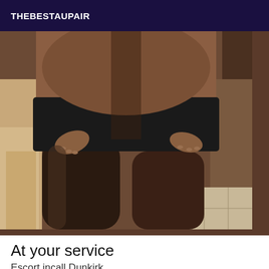THEBESTAUPAIR
[Figure (photo): Close-up photo of a person wearing a black mini skirt and dark stockings, hands on hips, indoor setting with tiled floor and stuffed animal visible in background.]
At your service
Escort incall Dunkirk